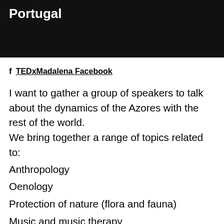Portugal
TEDxMadalena Facebook
I want to gather a group of speakers to talk about the dynamics of the Azores with the rest of the world. We bring together a range of topics related to:
Anthropology
Oenology
Protection of nature (flora and fauna)
Music and music therapy
Technology